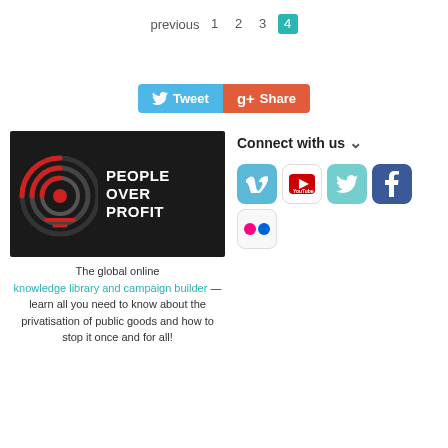previous  1  2  3  4
[Figure (screenshot): Tweet and Share social share buttons]
[Figure (logo): People Over Profit logo — black background with red concentric circle icon and white bold text PEOPLE OVER PROFIT]
The global online knowledge library and campaign builder — learn all you need to know about the privatisation of public goods and how to stop it once and for all!
Connect with us
[Figure (screenshot): Social media icon buttons: Vimeo, YouTube, Twitter, Facebook, Flickr]